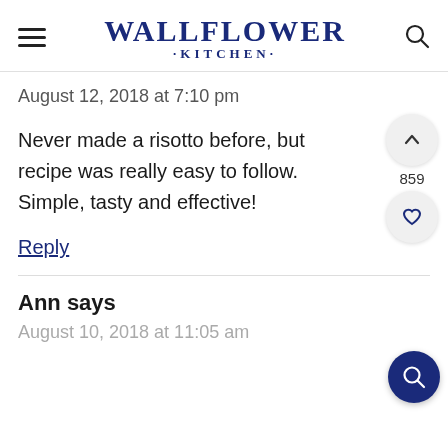WALLFLOWER KITCHEN
August 12, 2018 at 7:10 pm
Never made a risotto before, but recipe was really easy to follow. Simple, tasty and effective!
Reply
859
Ann says
August 10, 2018 at 11:05 am